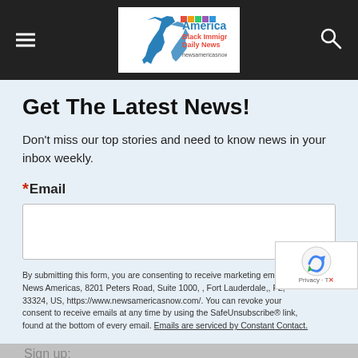Americas Black Immigrant Daily News
Get The Latest News!
Don't miss our top stories and need to know news in your inbox weekly.
*Email
By submitting this form, you are consenting to receive marketing emails from: News Americas, 8201 Peters Road, Suite 1000, , Fort Lauderdale,, FL, 33324, US, https://www.newsamericasnow.com/. You can revoke your consent to receive emails at any time by using the SafeUnsubscribe® link, found at the bottom of every email. Emails are serviced by Constant Contact.
Share This